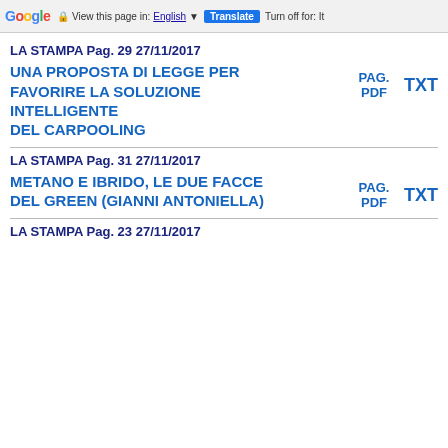Google — View this page in: English ▼ | Translate | Turn off for: It...
LA STAMPA Pag. 29 27/11/2017
UNA PROPOSTA DI LEGGE PER FAVORIRE LA SOLUZIONE INTELLIGENTE DEL CARPOOLING
PAG. PDF   TXT
LA STAMPA Pag. 31 27/11/2017
METANO E IBRIDO, LE DUE FACCE DEL GREEN (GIANNI ANTONIELLA)
PAG. PDF   TXT
LA STAMPA Pag. 23 27/11/2017